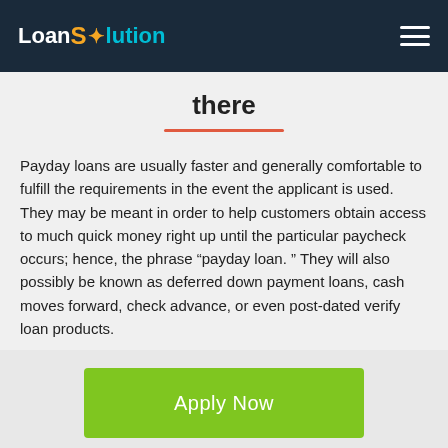LoanSolution
there
Payday loans are usually faster and generally comfortable to fulfill the requirements in the event the applicant is used. They may be meant in order to help customers obtain access to much quick money right up until the particular paycheck occurs; hence, the phrase “payday loan. ” They will also possibly be known as deferred down payment loans, cash moves forward, check advance, or even post-dated verify loan products.
Apply Now
Applying does NOT affect your credit score!
No credit check to apply.